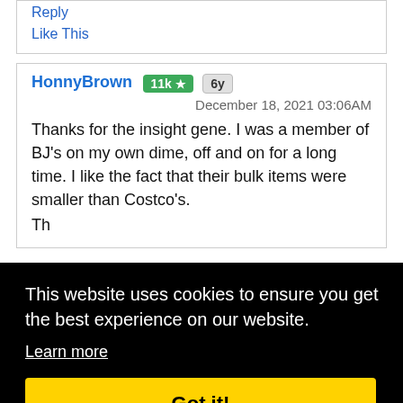Reply
Like This
HonnyBrown  11k ★  6y
December 18, 2021 03:06AM
Thanks for the insight gene. I was a member of BJ's on my own dime, off and on for a long time. I like the fact that their bulk items were smaller than Costco's. Th...
This website uses cookies to ensure you get the best experience on our website.
Learn more
Got it!